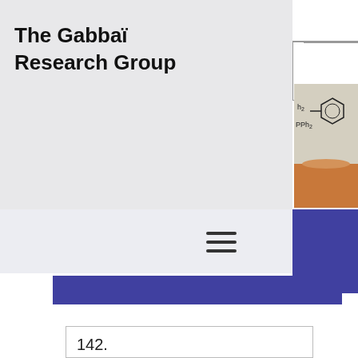The Gabbaï Research Group
[Figure (photo): Partial view of a chemistry research group webpage showing the Gabbaï Research Group title, navigation elements, a chemical structure diagram with benzene ring and PPh2 label, and an orange-colored liquid sample in a vial.]
142.